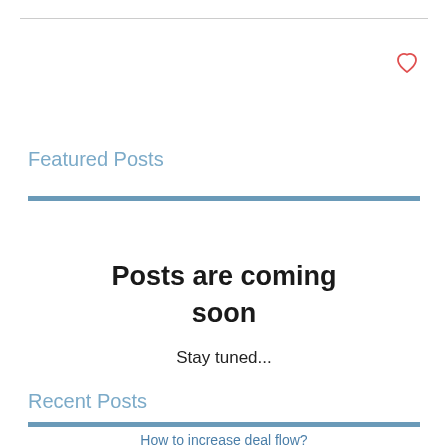[Figure (illustration): Red/pink heart outline icon in top right corner]
Featured Posts
Posts are coming soon
Stay tuned...
Recent Posts
How to increase deal flow?